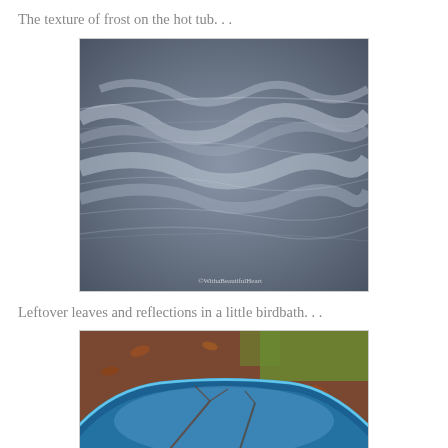The texture of frost on the hot tub. . .
[Figure (photo): Close-up photograph of frost patterns on a hot tub cover, showing swirling grey-blue frost formations with fine crystalline texture. Watermark reads ©WithaBeautifulHeart.]
Leftover leaves and reflections in a little birdbath. . .
[Figure (photo): Photograph of a blue ceramic birdbath from above, showing reflections of tree branches and surrounding autumn leaves and grass.]